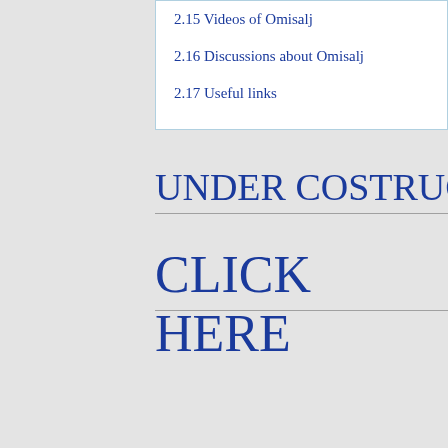2.15 Videos of Omisalj
2.16 Discussions about Omisalj
2.17 Useful links
UNDER COSTRUCTION
CLICK HERE